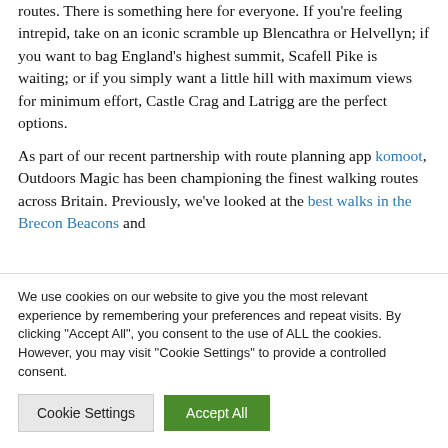routes. There is something here for everyone. If you're feeling intrepid, take on an iconic scramble up Blencathra or Helvellyn; if you want to bag England's highest summit, Scafell Pike is waiting; or if you simply want a little hill with maximum views for minimum effort, Castle Crag and Latrigg are the perfect options.
As part of our recent partnership with route planning app komoot, Outdoors Magic has been championing the finest walking routes across Britain. Previously, we've looked at the best walks in the Brecon Beacons and
We use cookies on our website to give you the most relevant experience by remembering your preferences and repeat visits. By clicking "Accept All", you consent to the use of ALL the cookies. However, you may visit "Cookie Settings" to provide a controlled consent.